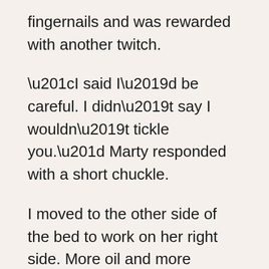fingernails and was rewarded with another twitch.
“I said I’d be careful. I didn’t say I wouldn’t tickle you.” Marty responded with a short chuckle.
I moved to the other side of the bed to work on her right side. More oil and more soothing pressure, I hoped. While there, I returned to her back